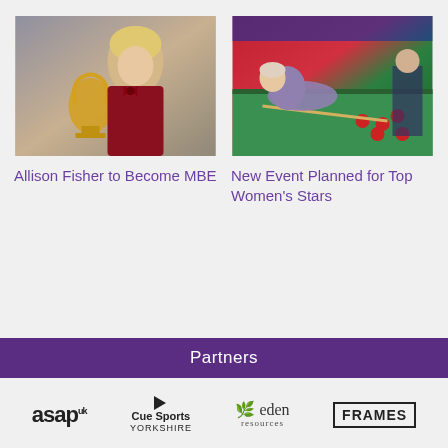[Figure (photo): Woman holding a gold trophy cup, wearing a red bow tie and vest, smiling at camera — Allison Fisher]
[Figure (photo): Snooker player leaning over a green baize table to take a shot, red snooker balls visible, audience in background]
Allison Fisher to Become MBE
New Event Planned for Top Women's Stars
Partners
[Figure (logo): asap uk logo]
[Figure (logo): Cue Sports Yorkshire logo with play triangle icon]
[Figure (logo): eden resources logo with tree icon]
[Figure (logo): FRAMES logo in bold bordered text]